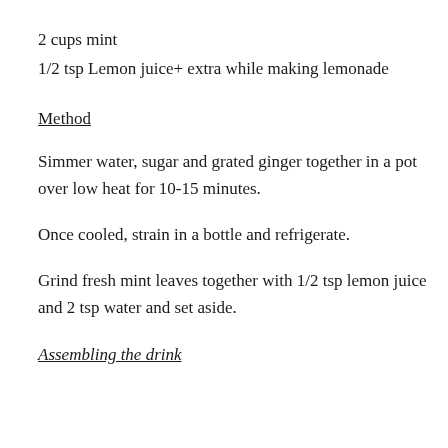2 cups mint
1/2 tsp Lemon juice+ extra while making lemonade
Method
Simmer water, sugar and grated ginger together in a pot over low heat for 10-15 minutes.
Once cooled, strain in a bottle and refrigerate.
Grind fresh mint leaves together with 1/2 tsp lemon juice and 2 tsp water and set aside.
Assembling the drink